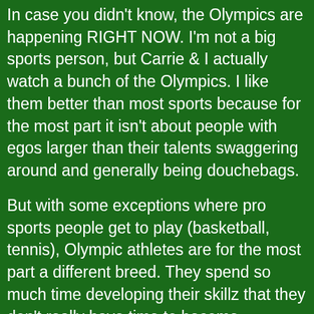In case you didn't know, the Olympics are happening RIGHT NOW. I'm not a big sports person, but Carrie & I actually watch a bunch of the Olympics. I like them better than most sports because for the most part it isn't about people with egos larger than their talents swaggering around and generally being douchebags.
But with some exceptions where pro sports people get to play (basketball, tennis), Olympic athletes are for the most part a different breed. They spend so much time developing their skillz that they don't really have time to become douchebags. Or if they do their coaches smack them back into their places or just cut them completely.
And periodically something completely awexome happens during the Olympics. Like this, when Mexican gymnast Elsa Garcia Rodriguez Blancas did her qualifying floor routine to a medley of music from The Legend of Zelda: